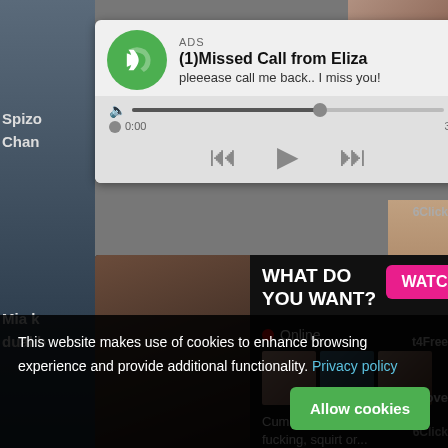[Figure (screenshot): Fake missed call notification ad popup with audio player controls, showing '(1)Missed Call from Eliza' with message 'pleeease call me back.. I miss you!' and audio playback controls]
[Figure (screenshot): Adult content advertisement with 'WHAT DO YOU WANT?' heading, WATCH button, Online indicator, thumbnail images, and text 'Cumming, ass fucking, squirt or...' with ADS label]
This website makes use of cookies to enhance browsing experience and provide additional functionality. Privacy policy
Allow cookies